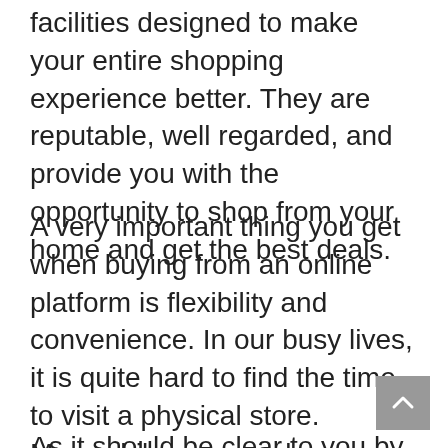facilities designed to make your entire shopping experience better. They are reputable, well regarded, and provide you with the opportunity to shop from your home and get the best deals.
A very important thing you get when buying from an online platform is flexibility and convenience. In our busy lives, it is quite hard to find the time to visit a physical store. Meanwhile, you can buy anything you want, including high back booster from an online store, while you are taking a break at work or doing your chores.
As it should be clear to you by now, there